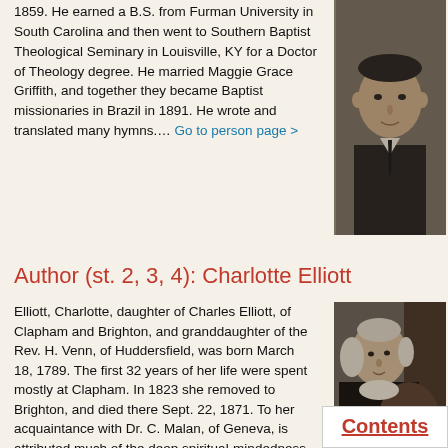1859. He earned a B.S. from Furman University in South Carolina and then went to Southern Baptist Theological Seminary in Louisville, KY for a Doctor of Theology degree. He married Maggie Grace Griffith, and together they became Baptist missionaries in Brazil in 1891. He wrote and translated many hymns.... Go to person page >
[Figure (photo): Black and white photograph of a man in a suit]
Author (st. 2, 3, 4): Charlotte Elliott
Elliott, Charlotte, daughter of Charles Elliott, of Clapham and Brighton, and granddaughter of the Rev. H. Venn, of Huddersfield, was born March 18, 1789. The first 32 years of her life were spent mostly at Clapham. In 1823 she removed to Brighton, and died there Sept. 22, 1871. To her acquaintance with Dr. C. Malan, of Geneva, is attributed much of the deep spiritual-mindedness which is so prominent in her hymns. Though weak and feeble in body, she possessed a strong imagination, and a well-cultured and intellectual mind. Her love of poetry and music was great, and is reflected in her verse. Her hymns number about 150, a large percentage of which are in common use. The finest and most widely known of these a... "My God... Go to person page >
[Figure (photo): Black and white photograph of Charlotte Elliott, an elderly woman]
Contents